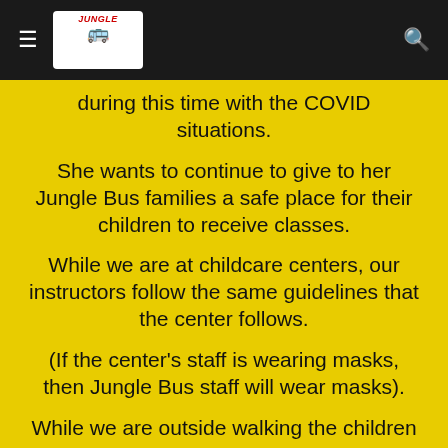Jungle Bus website header with hamburger menu, logo, and search icon
during this time with the COVID situations.
She wants to continue to give to her Jungle Bus families a safe place for their children to receive classes.
While we are at childcare centers, our instructors follow the same guidelines that the center follows.
(If the center's staff is wearing masks, then Jungle Bus staff will wear masks).
While we are outside walking the children to